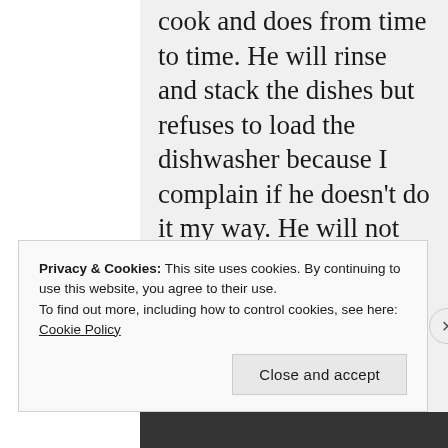cook and does from time to time. He will rinse and stack the dishes but refuses to load the dishwasher because I complain if he doesn't do it my way. He will not unload the dishwasher for the same reason. He washes out my coffee go cup and makes my
Privacy & Cookies: This site uses cookies. By continuing to use this website, you agree to their use.
To find out more, including how to control cookies, see here: Cookie Policy
Close and accept